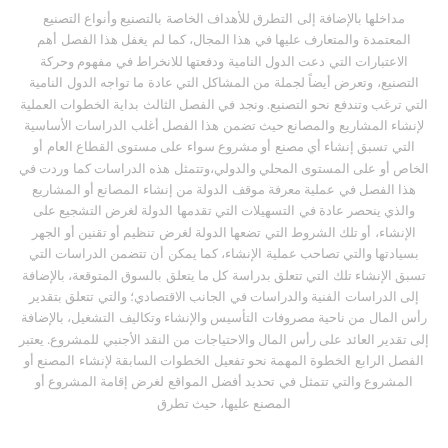مداخلها بالإضافة إلى التطرق للأهداف الخاصة بالتصنيع وأنواع التصنيع المعتمدة والمتعارف عليها في هذا المجال، كما لم يغفل هذا الفصل أهم الاعتبارات التي دعت الدول النامية ودفعتها للانخراط في مفهوم وحركة التصنيع، وتعرض أيضاً لجملة من المشاكل التي عادة ما تواجه الدول النامية التي ترغب وتندفع نحو التصنيع. ونجد في الفصل الثالث بداية الخطوات العملية لإنشاء المشاريع والمصانع حيث تضمن هذا الفصل أغلب الدراسات الأساسية التي تسبق إنشاء أي مصنع أو مشروع سواء على مستوى القطاع العام أو الخاص أو على المستوى المحلي والدولي،وتتمثل هذه الدراسات كما وردت في هذا الفصل في عملية معرفة موقف الدولة من إنشاء المصانع أو المشاريع والذي ينحصر عادة في التسهيلات التي تقدمها الدولة لغرض التشجيع على الإنشاء، أو تلك الشروط التي تضعها الدولة لغرض تنظيم أو تقنين أو الجهر بسيادتها والتي تصاحب عملية الإنشاء، كما يمكن أن تتضمن الدراسات التي تسبق الإنشاء تلك التي تتعلق بدراسة كل ما يتعلق بالسوق المتوقعة، بالإضافة إلى الدراسات الفنية والدراسات في الجانب الاقتصادي؛ والتي تتعلق بتقدير رأس المال من ناحية مصروفات التأسيس والإنشاء وتكاليف التشغيل، بالإضافة إلى تقدير العائد على رأس المال والاحتياجات من النقد الأجنبي للمشروع. يعتبر الفصل الرابع الخطوة المهمة نحو تفعيل الخطوات السابقة لإنشاء المصنع أو المشروع والتي تتمثل في تحديد أفضل المواقع لغرض إقامة المشروع أو المصنع عليها، حيث تطرق